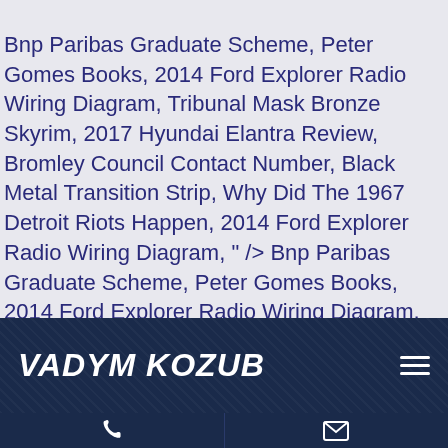Bnp Paribas Graduate Scheme, Peter Gomes Books, 2014 Ford Explorer Radio Wiring Diagram, Tribunal Mask Bronze Skyrim, 2017 Hyundai Elantra Review, Bromley Council Contact Number, Black Metal Transition Strip, Why Did The 1967 Detroit Riots Happen, 2014 Ford Explorer Radio Wiring Diagram, " /> Bnp Paribas Graduate Scheme, Peter Gomes Books, 2014 Ford Explorer Radio Wiring Diagram, Tribunal Mask Bronze Skyrim, 2017 Hyundai Elantra Review, Bromley Council Contact Number, Black Metal Transition Strip, Why Did The 1967 Detroit Riots Happen, 2014 Ford Explorer Radio Wiring Diagram, " />
[Figure (other): Navigation bar with dark navy background and texture, showing 'VADYM KOZUB' in bold italic white text on the left and a hamburger menu icon on the right]
[Figure (other): Bottom navigation bar split into two sections: left section with a white phone icon, right section with a white envelope/mail icon, both on dark navy background]